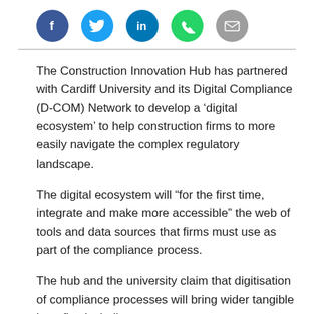[Figure (other): Row of five social media sharing icons: Facebook (blue circle), Twitter (light blue circle), LinkedIn (dark blue circle), Phone/WhatsApp (green circle), Email (grey circle)]
The Construction Innovation Hub has partnered with Cardiff University and its Digital Compliance (D-COM) Network to develop a ‘digital ecosystem’ to help construction firms to more easily navigate the complex regulatory landscape.
The digital ecosystem will “for the first time, integrate and make more accessible” the web of tools and data sources that firms must use as part of the compliance process.
The hub and the university claim that digitisation of compliance processes will bring wider tangible benefits, including: